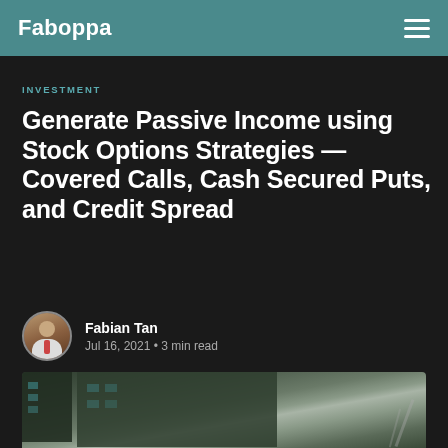Faboppa
INVESTMENT
Generate Passive Income using Stock Options Strategies — Covered Calls, Cash Secured Puts, and Credit Spread
Fabian Tan
Jul 16, 2021 • 3 min read
[Figure (photo): Photograph of a building exterior with muted tones, birds visible, used as article hero image]